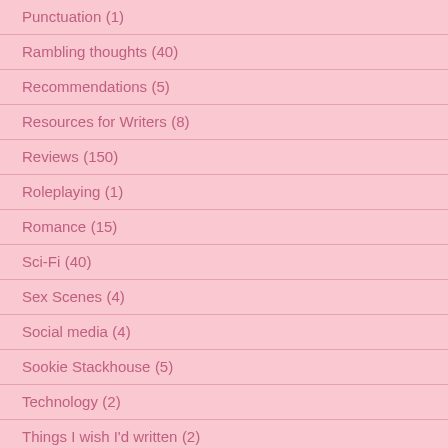Punctuation (1)
Rambling thoughts (40)
Recommendations (5)
Resources for Writers (8)
Reviews (150)
Roleplaying (1)
Romance (15)
Sci-Fi (40)
Sex Scenes (4)
Social media (4)
Sookie Stackhouse (5)
Technology (2)
Things I wish I'd written (2)
Thoughts on reading (51)
Thrillers (30)